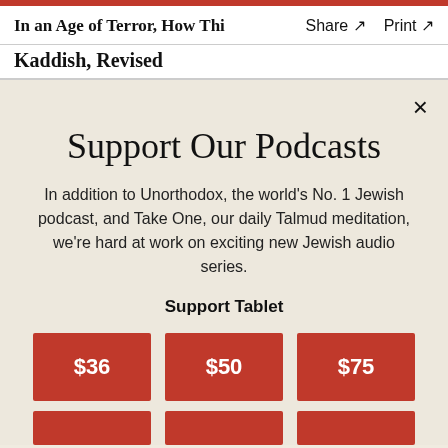In an Age of Terror, How Thi Share ↗  Print ↗
Kaddish, Revised
Support Our Podcasts
In addition to Unorthodox, the world's No. 1 Jewish podcast, and Take One, our daily Talmud meditation, we're hard at work on exciting new Jewish audio series.
Support Tablet
$36
$50
$75